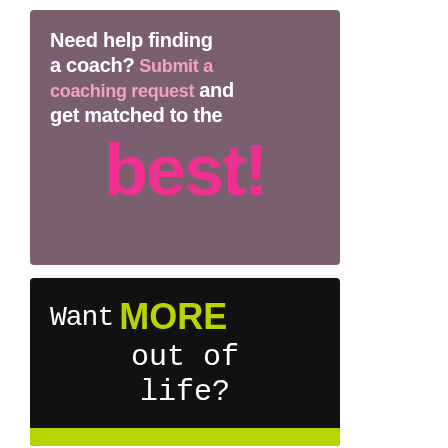[Figure (infographic): Mauve/purple background promotional image with text: 'Need help finding a coach? Submit a coaching request and get matched to the best!' The word 'best!' is in large hot pink text.]
[Figure (infographic): Black background promotional image with text: 'Want MORE out of life?' where 'MORE' is in large yellow-green bold text and the rest is white monospace text. A yellow-green strip appears at the bottom.]